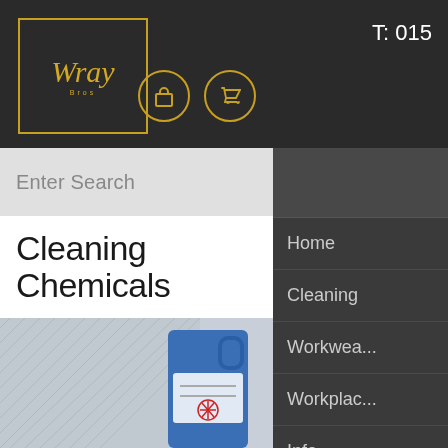Wray Bros - T: 015
Cleaning Chemicals
When it comes to specialist janitorial supplies the Jang of Wholesale Cleaning Chemicals will deliver a clean and safe environment for your staff, clients and customers.
The professional cleaning supplies range includes carpet cleaning products, commercial washroom cleaners, hard surface cleaning chemicals, specialist catering, cleaning chemicals and industrial cleaning disinfectants.
[Figure (screenshot): Navigation menu panel on right side showing: Home, Cleaning, Workwear, Workplace, Info, Contact, About Us, and social media icons (Facebook, Twitter)]
[Figure (photo): Product photo showing cleaning supplies including a blue liquid detergent bottle/jug and cleaning cloth or sponge texture]